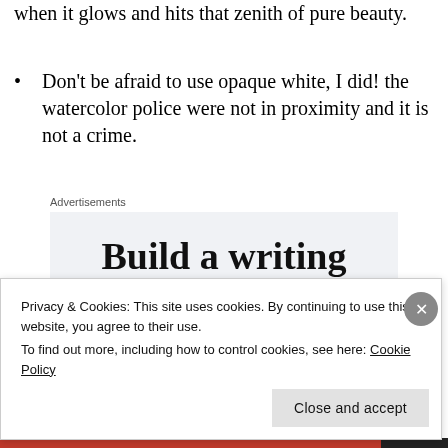when it glows and hits that zenith of pure beauty.
Don't be afraid to use opaque white, I did! the watercolor police were not in proximity and it is not a crime.
Advertisements
[Figure (other): Advertisement banner with text 'Build a writing habit. Post on the go']
Privacy & Cookies: This site uses cookies. By continuing to use this website, you agree to their use.
To find out more, including how to control cookies, see here: Cookie Policy
Close and accept